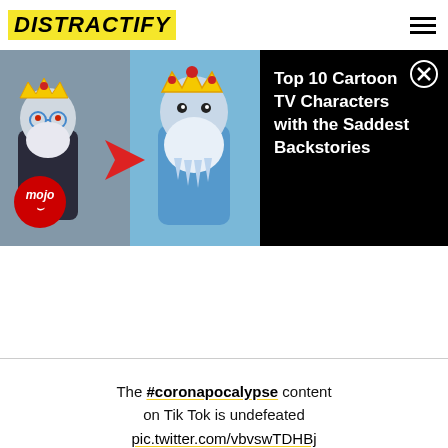DISTRACTIFY
[Figure (screenshot): Video thumbnail for 'Top 10 Cartoon TV Characters with the Saddest Backstories' showing animated cartoon characters with crowns, a red arrow, and a WatchMojo logo badge on a black background]
The #coronapocalypse content on Tik Tok is undefeated pic.twitter.com/vbvswTDHBj
— Aima Niqabae (@AimaNiqabae)